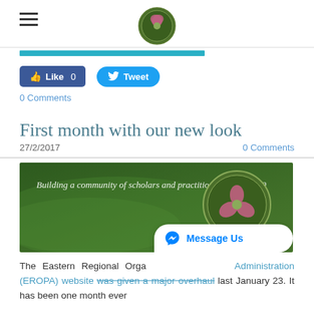EROPA website header with hamburger menu and circular logo
[Figure (other): Teal progress/navigation bar below header]
[Figure (other): Facebook Like button showing 0 likes and Twitter Tweet button]
0 Comments
First month with our new look
27/2/2017   0 Comments
[Figure (photo): EROPA website banner: dark green background with text 'Building a community of scholars and practitioners since 1960' and EROPA circular seal logo on right side with text EASTERN REGIONAL ORGANIZATION FOR PUBLIC ADMINISTRATION]
The Eastern Regional Organization for Public Administration (EROPA) website was given a major overhaul last January 23. It has been one month ever